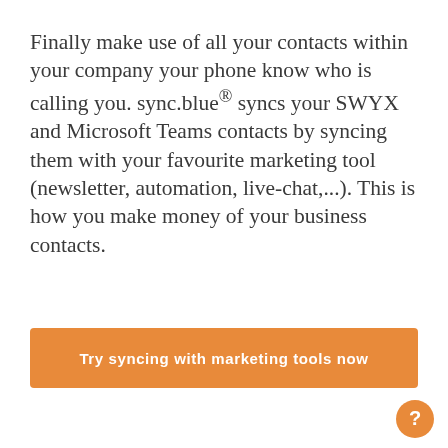Finally make use of all your contacts within your company your phone know who is calling you. sync.blue® syncs your SWYX and Microsoft Teams contacts by syncing them with your favourite marketing tool (newsletter, automation, live-chat,...). This is how you make money of your business contacts.
Try syncing with marketing tools now